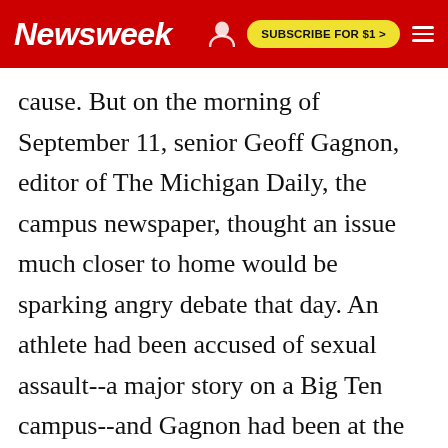Newsweek | SUBSCRIBE FOR $1 >
cause. But on the morning of September 11, senior Geoff Gagnon, editor of The Michigan Daily, the campus newspaper, thought an issue much closer to home would be sparking angry debate that day. An athlete had been accused of sexual assault--a major story on a Big Ten campus--and Gagnon had been at the paper until well past 3 in the morning nailing down details. He was still groggy when his roommate burst in to tell him that NPR was reporting a "big plane crash in New York." Gagnon rushed from his apartment to the Daily newsroom